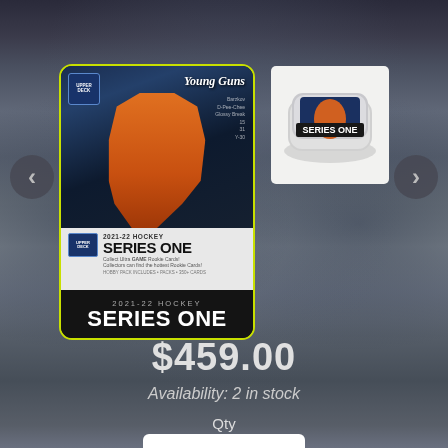[Figure (photo): Product listing page for 2021-22 Upper Deck Hockey Series One tin/box set on an e-commerce site, shown against a hockey arena background. Two product images are shown: the main front-facing tin with yellow-green border highlighting, and a thumbnail of the tin from a different angle.]
$459.00
Availability: 2 in stock
Qty
1
Add to Cart